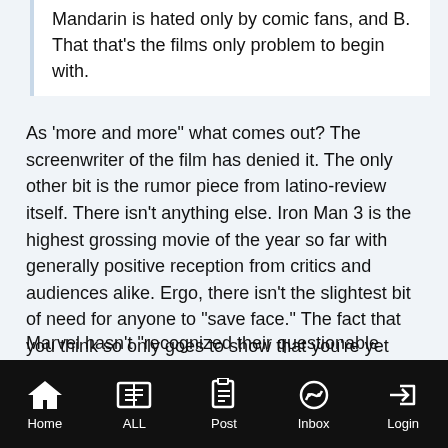Mandarin is hated only by comic fans, and B. That that's the films only problem to begin with.
As 'more and more" what comes out? The screenwriter of the film has denied it. The only other bit is the rumor piece from latino-review itself. There isn't anything else. Iron Man 3 is the highest grossing movie of the year so far with generally positive reception from critics and audiences alike. Ergo, there isn't the slightest bit of need for anyone to "save face." The fact that you think so only goes to show that you're yet another of those firmly trapped under the "bubble."
Marvel hasn't "recognized their questionable decision." You speak as though the rumor is proven truth already, when on one hand we have evidence from someone that actually
Home  ALL  Post  Inbox  Login